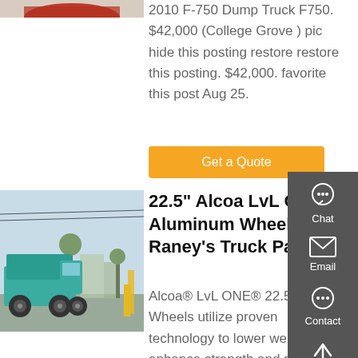[Figure (photo): Partial top of a red truck/dump truck image, cropped at top]
2010 F-750 Dump Truck F750. $42,000 (College Grove ) pic hide this posting restore restore this posting. $42,000. favorite this post Aug 25.
Get a Quote
[Figure (photo): A teal/turquoise heavy-duty dump truck parked on a road with trees and buildings in background]
22.5" Alcoa LvL ONE Aluminum Wheel - Raney's Truck Parts
Alcoa® LvL ONE® 22.5" x 8.25" Wheels utilize proven technology to lower weight, enhance strength and provide an eye-